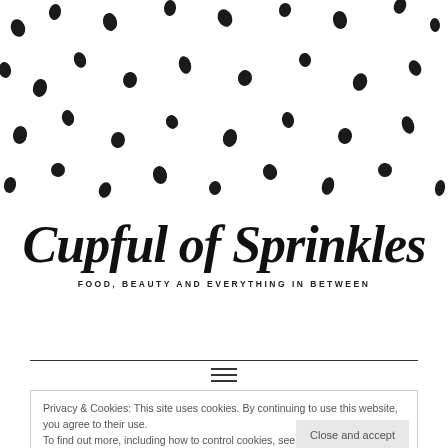[Figure (illustration): White background with scattered black ink dot/sprinkle pattern across top portion of page]
Cupful of Sprinkles
FOOD, BEAUTY AND EVERYTHING IN BETWEEN
Privacy & Cookies: This site uses cookies. By continuing to use this website, you agree to their use. To find out more, including how to control cookies, see here: Cookie Policy
Close and accept
FAVORIOT BLACK BITES
March 24, 2018